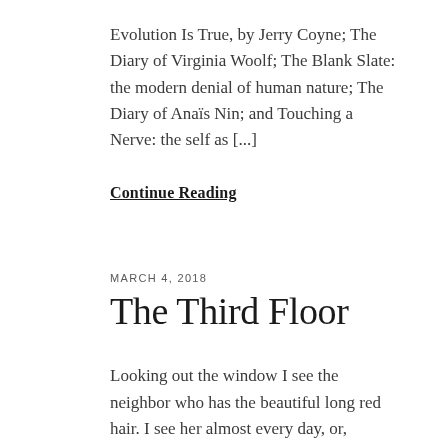Evolution Is True, by Jerry Coyne; The Diary of Virginia Woolf; The Blank Slate: the modern denial of human nature; The Diary of Anaïs Nin; and Touching a Nerve: the self as [...]
Continue Reading
MARCH 4, 2018
The Third Floor
Looking out the window I see the neighbor who has the beautiful long red hair. I see her almost every day, or, whenever I look down to the street from up here on the third floor. I